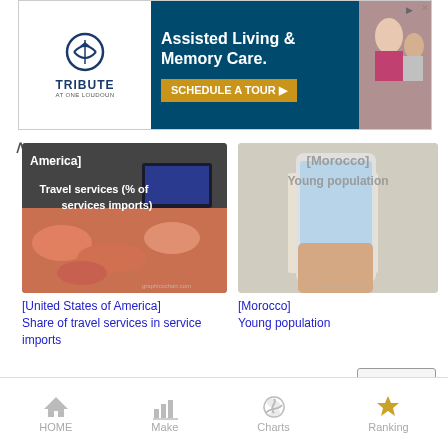[Figure (screenshot): Advertisement banner for Tribute Assisted Living & Memory Care with schedule a tour call to action]
[Figure (photo): Chart thumbnail for United States of America travel services (% of services imports) showing food/fish market image with text overlay]
[Figure (photo): Chart thumbnail for Morocco young population showing hands holding smartphone]
[United States of America]
Share of travel services in service imports
[Morocco]
Young population
Random
HOME  Make  Charts  Ranking